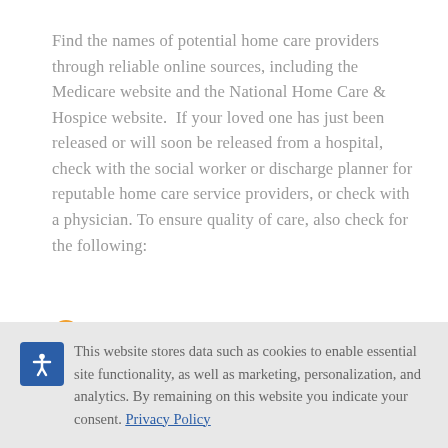Find the names of potential home care providers through reliable online sources, including the Medicare website and the National Home Care & Hospice website. If your loved one has just been released or will soon be released from a hospital, check with the social worker or discharge planner for reputable home care service providers, or check with a physician. To ensure quality of care, also check for the following:
Find out the length of time the agency has been in business.
This website stores data such as cookies to enable essential site functionality, as well as marketing, personalization, and analytics. By remaining on this website you indicate your consent. Privacy Policy